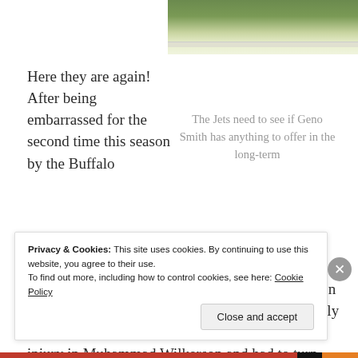[Figure (photo): Partial view of a football field with green turf and white yard line markings, top-right of page]
Here they are again! After being embarrassed for the second time this season by the Buffalo Bills in a 38-3 drubbing at Ford Field in Detroit on Monday Night Football, the 2-9 Jets have officially hit rock bottom. They've lost their best player to injury in Muhammad Wilkerson and had to turn from struggling veteran starter Michael Vick back to the incumbent
The Jets need to see if Geno Smith has anything to offer in the long-term
Privacy & Cookies: This site uses cookies. By continuing to use this website, you agree to their use.
To find out more, including how to control cookies, see here: Cookie Policy
Close and accept